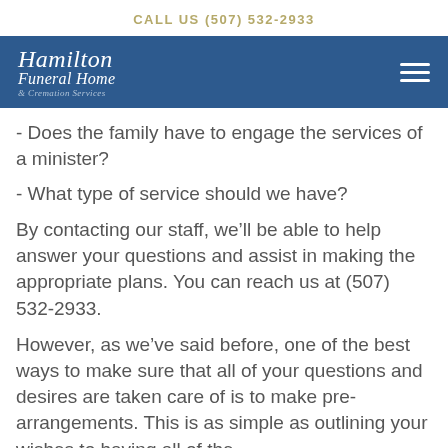CALL US (507) 532-2933
[Figure (logo): Hamilton Funeral Home & Cremation Services logo in white italic script on dark blue background, with hamburger menu icon on right]
- Does the family have to engage the services of a minister?
- What type of service should we have?
By contacting our staff, we’ll be able to help answer your questions and assist in making the appropriate plans. You can reach us at (507) 532-2933.
However, as we’ve said before, one of the best ways to make sure that all of your questions and desires are taken care of is to make pre-arrangements. This is as simple as outlining your wishes to having all of the